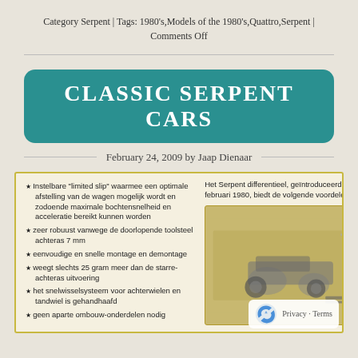Category Serpent | Tags: 1980's,Models of the 1980's,Quattro,Serpent | Comments Off
CLASSIC SERPENT CARS
February 24, 2009 by Jaap Dienaar
[Figure (photo): Scanned product brochure page showing a Serpent RC car with Dutch text listing features of the Serpent differential introduced in February 1980, alongside a photo of the RC car chassis.]